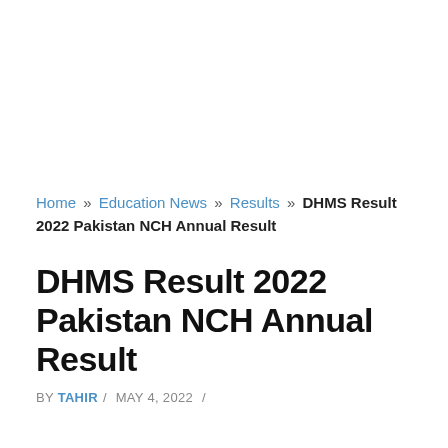Home » Education News » Results » DHMS Result 2022 Pakistan NCH Annual Result
DHMS Result 2022 Pakistan NCH Annual Result
BY TAHIR / MAY 4, 2022 /